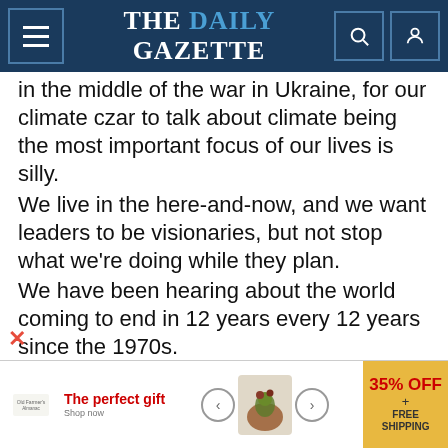THE DAILY GAZETTE
in the middle of the war in Ukraine, for our climate czar to talk about climate being the most important focus of our lives is silly.
We live in the here-and-now, and we want leaders to be visionaries, but not stop what we're doing while they plan.
We have been hearing about the world coming to end in 12 years every 12 years since the 1970s.
If people think that prices are high now, wait until the energy companies' portfolios are significantly green.
Germany shut down all of its nuclear plants and many coal plants and expected it to be business as usual. Surprise! The Germans are already
[Figure (other): Advertisement banner: 'The perfect gift' with product images, navigation arrows, and 35% OFF + FREE SHIPPING promo badge]